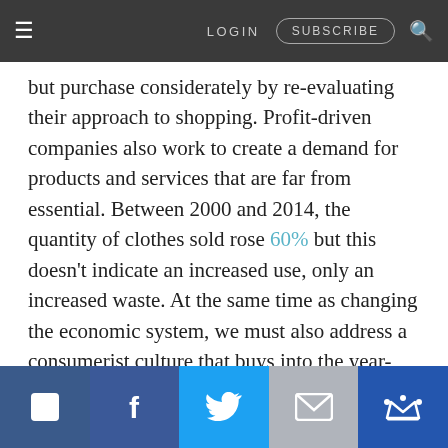LOGIN   SUBSCRIBE
but purchase considerately by re-evaluating their approach to shopping. Profit-driven companies also work to create a demand for products and services that are far from essential. Between 2000 and 2014, the quantity of clothes sold rose 60% but this doesn't indicate an increased use, only an increased waste. At the same time as changing the economic system, we must also address a consumerist culture that buys into the year-long parade of artificial must-haves presented to us by companies, and prove that what is profitable to businesses is not to focus simply on profit.